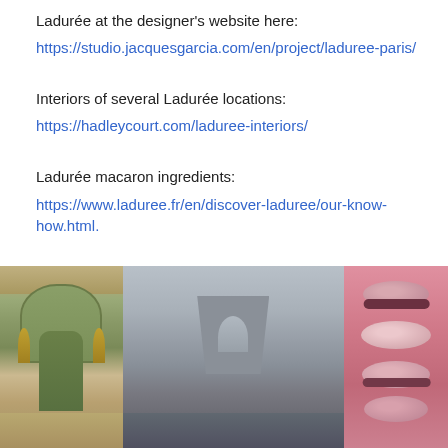Ladurée at the designer's website here:
https://studio.jacquesgarcia.com/en/project/laduree-paris/
Interiors of several Ladurée locations:
https://hadleycourt.com/laduree-interiors/
Ladurée macaron ingredients:
https://www.laduree.fr/en/discover-laduree/our-know-how.html.
Buy Paris in Clichés
[Figure (photo): Three photos side by side: (1) Ladurée Paris entrance with ornate green door and gold lamps on Haussmann building, (2) Arc de Triomphe viewed from Champs-Élysées on a misty day with traffic, (3) Three pink macarons stacked on a pink background.]